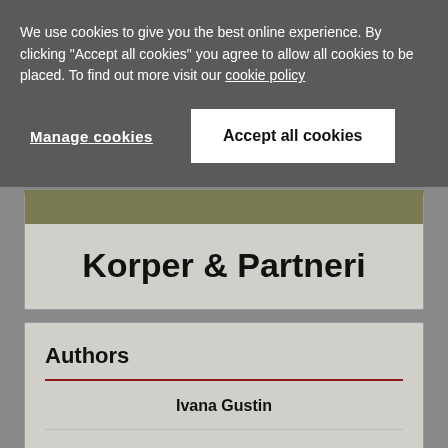We use cookies to give you the best online experience. By clicking "Accept all cookies" you agree to allow all cookies to be placed. To find out more visit our cookie policy
Manage cookies
Accept all cookies
Korper & Partneri
Authors
Ivana Gustin
Hrvoje Markuli